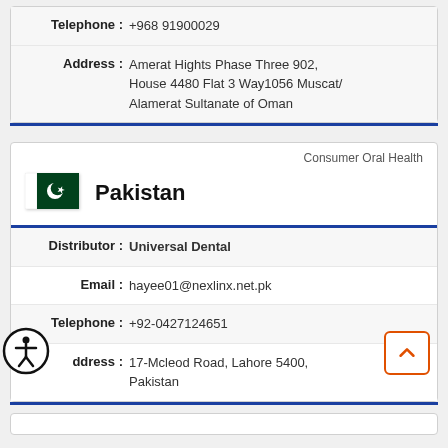| Telephone : | +968 91900029 |
| Address : | Amerat Hights Phase Three 902, House 4480 Flat 3 Way1056 Muscat/ Alamerat Sultanate of Oman |
Consumer Oral Health
[Figure (illustration): Pakistan national flag — white and green with crescent and star]
Pakistan
| Distributor : | Universal Dental |
| Email : | hayee01@nexlinx.net.pk |
| Telephone : | +92-0427124651 |
| Address : | 17-Mcleod Road, Lahore 5400, Pakistan |